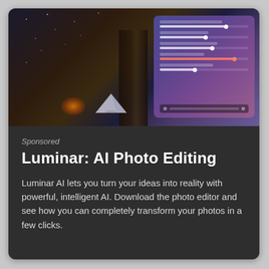[Figure (screenshot): Split image showing a night camping scene on the left (tent, campfire, rocky pillar) and a Luminar AI photo editing software panel on the right with sliders and controls on a dark purple/pink gradient background.]
Sponsored
Luminar: AI Photo Editing
Luminar AI lets you turn your ideas into reality with powerful, intelligent AI. Download the photo editor and see how you can completely transform your photos in a few clicks.